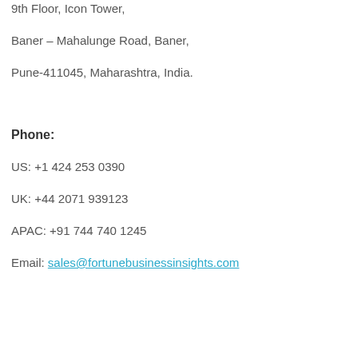9th Floor, Icon Tower,
Baner – Mahalunge Road, Baner,
Pune-411045, Maharashtra, India.
Phone:
US: +1 424 253 0390
UK: +44 2071 939123
APAC: +91 744 740 1245
Email: sales@fortunebusinessinsights.com